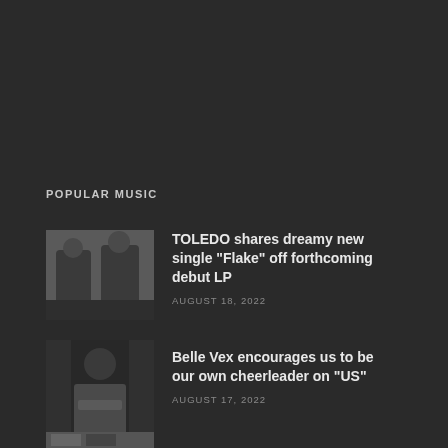POPULAR MUSIC
[Figure (photo): Black and white photo of two musicians, the TOLEDO band members]
TOLEDO shares dreamy new single “Flake” off forthcoming debut LP
AUGUST 18, 2022
[Figure (photo): Photo of Belle Vex, a musician in a white long-sleeve shirt with crossed arms]
Belle Vex encourages us to be our own cheerleader on "US"
AUGUST 17, 2022
[Figure (photo): Partial photo thumbnail at the bottom edge of the page]